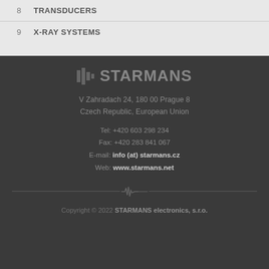8  TRANSDUCERS
9  X-RAY SYSTEMS
[Figure (logo): STARMANS logo with waveform icon]
V Zahradach 24, 180 00 Prague 8
Czech Republic, European Union
Tel: +420 603 298 234
Fax: +420 283 841 067
E-mail: info (at) starmans.cz
Web: www.starmans.net
Copyright © 2022 STARMANS electronics, s.r.o.